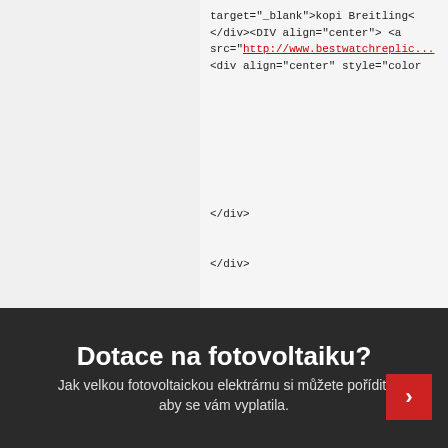target="_blank">kopi Breitling<
</div><DIV align="center"> <a
src="http://www.bestwatchreplic...
<div align="center" style="color
</div>
</div>
<strong><a href="http://www.be...
<strong><a href="http://www.be...
Zavřít reklamu
Zavřít reklamu
Reklama
[Figure (photo): Advertisement banner with handwritten text and woman photo on left, blue rectangle on right]
Dotace na fotovoltaiku?
Jak velkou fotovoltaickou elektrárnu si můžete pořídit, aby se vám vyplatila.